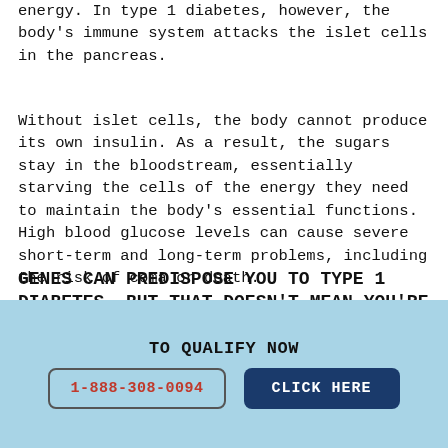energy. In type 1 diabetes, however, the body's immune system attacks the islet cells in the pancreas.
Without islet cells, the body cannot produce its own insulin. As a result, the sugars stay in the bloodstream, essentially starving the cells of the energy they need to maintain the body's essential functions. High blood glucose levels can cause severe short-term and long-term problems, including the risk of coma or death.
GENES CAN PREDISPOSE YOU TO TYPE 1 DIABETES, BUT THAT DOESN'T MEAN YOU'RE DESTINED
TO QUALIFY NOW
1-888-308-0094
CLICK HERE